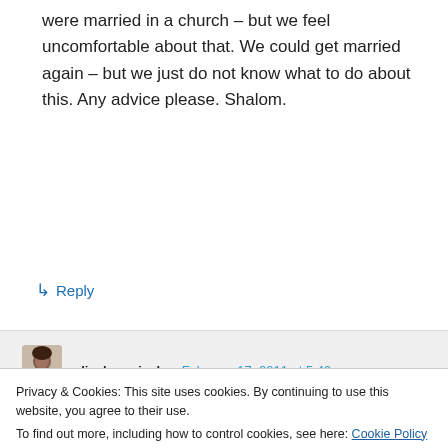were married in a church – but we feel uncomfortable about that. We could get married again – but we just do not know what to do about this. Any advice please. Shalom.
↳ Reply
aliyahsurvival on February 17, 2011 at 5:49 am
Hi Eli,
Privacy & Cookies: This site uses cookies. By continuing to use this website, you agree to their use.
To find out more, including how to control cookies, see here: Cookie Policy
Close and accept
being your spouse she would at least of the